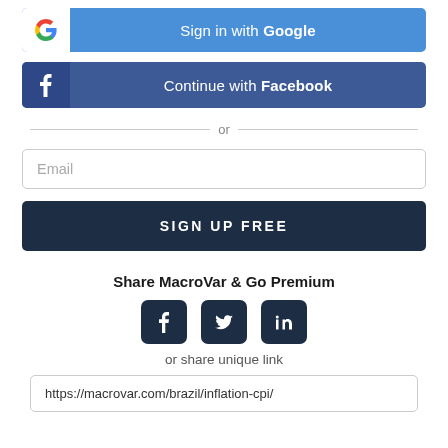[Figure (screenshot): Sign in with Google button with Google logo icon on white background and blue button]
[Figure (screenshot): Continue with Facebook button with Facebook logo icon on dark blue background]
or
Email
SIGN UP FREE
Share MacroVar & Go Premium
[Figure (screenshot): Social share icons: Facebook, Twitter, LinkedIn]
or share unique link
https://macrovar.com/brazil/inflation-cpi/